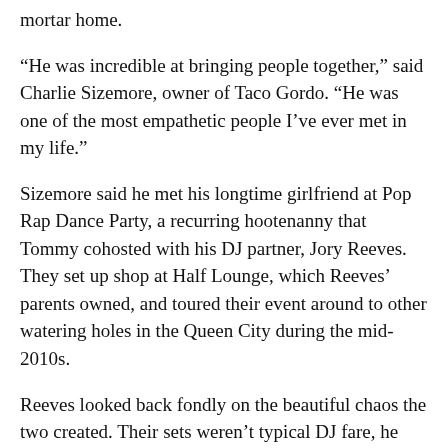mortar home.
“He was incredible at bringing people together,” said Charlie Sizemore, owner of Taco Gordo. “He was one of the most empathetic people I’ve ever met in my life.”
Sizemore said he met his longtime girlfriend at Pop Rap Dance Party, a recurring hootenanny that Tommy cohosted with his DJ partner, Jory Reeves. They set up shop at Half Lounge, which Reeves’ parents owned, and toured their event around to other watering holes in the Queen City during the mid-2010s.
Reeves looked back fondly on the beautiful chaos the two created. Their sets weren’t typical DJ fare, he explained.
“We were kind of making a mockery of deejaying,” he said. “It actually pissed off a lot of DJs.”